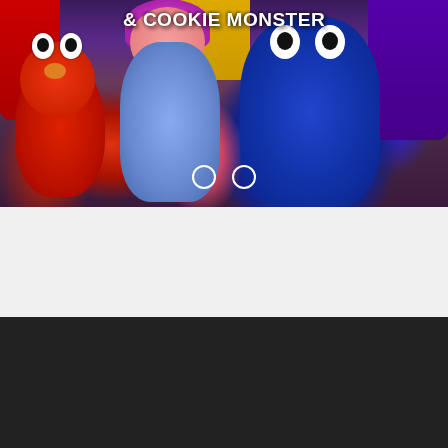[Figure (photo): Photo of Sesame Street characters Elmo, Abby, and Cookie Monster with performers/Wiggles members. Text overlay reads '& COOKIE MONSTER' with carousel navigation dots. Top portion partially cut off showing more text above.]
& COOKIE MONSTER